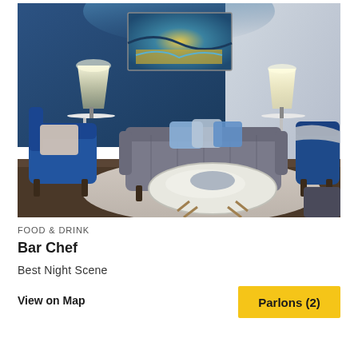[Figure (photo): Interior photo of a stylish lounge/bar area with a grey tufted sofa, blue velvet chairs, round white marble coffee table, table lamps, and an abstract painting on the wall.]
FOOD & DRINK
Bar Chef
Best Night Scene
View on Map
Parlons (2)